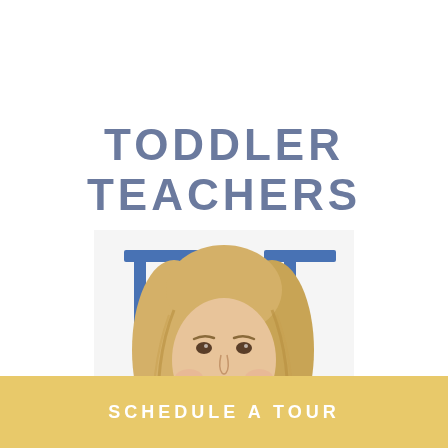TODDLER TEACHERS
[Figure (photo): A smiling blonde woman teacher photographed indoors with blue furniture visible in the background]
SCHEDULE A TOUR